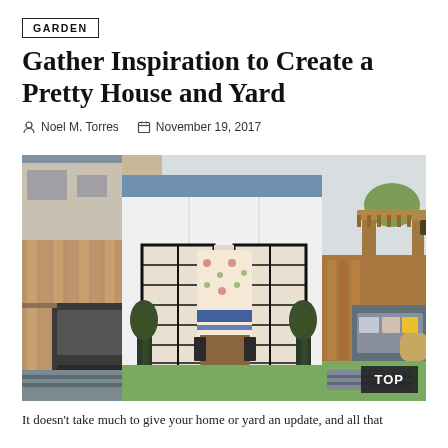GARDEN
Gather Inspiration to Create a Pretty House and Yard
Noel M. Torres   November 19, 2017
[Figure (photo): Outdoor dining room shed with black French doors open, revealing a dining table and floral wallpaper inside. Left side shows outdoor kitchen with BBQ grill; right side shows patio seating area with wooden pergola.]
It doesn't take much to give your home or yard an update, and all that